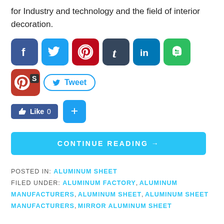for Industry and technology and the field of interior decoration.
[Figure (other): Social media sharing icons: Facebook, Twitter, Pinterest, Tumblr, LinkedIn, Evernote, Pinterest/S combo, Tweet button, Like button, Share button]
CONTINUE READING →
POSTED IN: ALUMINUM SHEET
FILED UNDER: ALUMINUM FACTORY, ALUMINUM MANUFACTURERS, ALUMINUM SHEET, ALUMINUM SHEET MANUFACTURERS, MIRROR ALUMINUM SHEET
Thread Modes Mirror aluminum sheet promote kitchen adornment